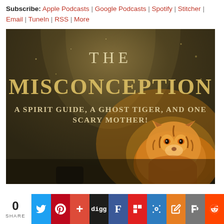Subscribe: Apple Podcasts | Google Podcasts | Spotify | Stitcher | Email | TuneIn | RSS | More
[Figure (illustration): Book cover for 'The Misconception: A Spirit Guide, A Ghost Tiger, And One Scary Mother!' with a tiger and dramatic golden lighting on a dark background.]
0 SHARE [Twitter] [Pinterest] [+] [digg] [F] [Flipboard] [tiger icon] [edit icon] [Parler] [Reddit]